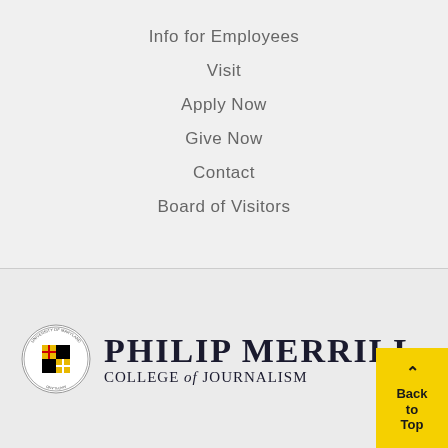Info for Employees
Visit
Apply Now
Give Now
Contact
Board of Visitors
[Figure (logo): Philip Merrill College of Journalism logo with University of Maryland seal]
Back to Top